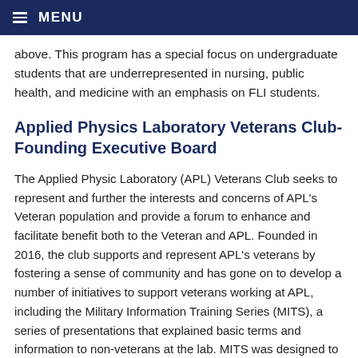MENU
above. This program has a special focus on undergraduate students that are underrepresented in nursing, public health, and medicine with an emphasis on FLI students.
Applied Physics Laboratory Veterans Club- Founding Executive Board
The Applied Physic Laboratory (APL) Veterans Club seeks to represent and further the interests and concerns of APL’s Veteran population and provide a forum to enhance and facilitate benefit both to the Veteran and APL. Founded in 2016, the club supports and represent APL’s veterans by fostering a sense of community and has gone on to develop a number of initiatives to support veterans working at APL, including the Military Information Training Series (MITS), a series of presentations that explained basic terms and information to non-veterans at the lab. MITS was designed to create understanding and inclusion between APL non-veterans and veterans,